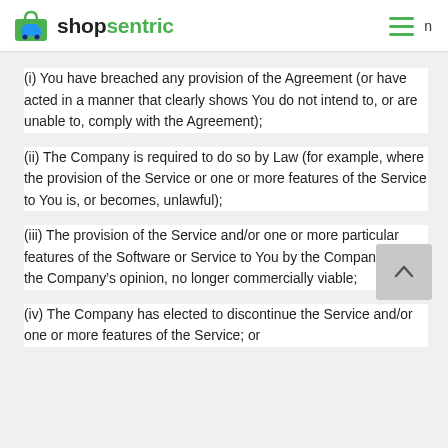shopsentric
(i) You have breached any provision of the Agreement (or have acted in a manner that clearly shows You do not intend to, or are unable to, comply with the Agreement);
(ii) The Company is required to do so by Law (for example, where the provision of the Service or one or more features of the Service to You is, or becomes, unlawful);
(iii) The provision of the Service and/or one or more particular features of the Software or Service to You by the Company is, in the Company’s opinion, no longer commercially viable;
(iv) The Company has elected to discontinue the Service and/or one or more features of the Service; or